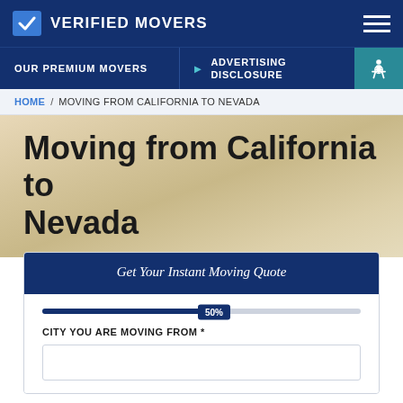VERIFIED MOVERS
OUR PREMIUM MOVERS
ADVERTISING DISCLOSURE
HOME / MOVING FROM CALIFORNIA TO NEVADA
Moving from California to Nevada
Get Your Instant Moving Quote
50%
CITY YOU ARE MOVING FROM *